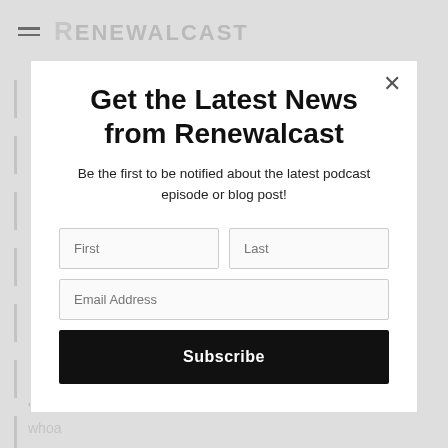[Figure (screenshot): Background website page partially visible behind modal overlay, showing hamburger menu icon, Renewalcast logo, vertical line decorations, and text 'John Gooden' and 'whoa']
Get the Latest News from Renewalcast
Be the first to be notified about the latest podcast episode or blog post!
First | Last | Email Address | Subscribe